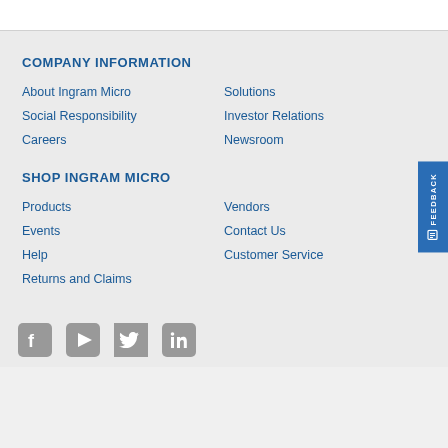COMPANY INFORMATION
About Ingram Micro
Solutions
Social Responsibility
Investor Relations
Careers
Newsroom
SHOP INGRAM MICRO
Products
Vendors
Events
Contact Us
Help
Customer Service
Returns and Claims
[Figure (illustration): Social media icons: Facebook, YouTube, Twitter, LinkedIn]